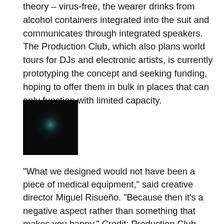theory – virus-free, the wearer drinks from alcohol containers integrated into the suit and communicates through integrated speakers. The Production Club, which also plans world tours for DJs and electronic artists, is currently prototyping the concept and seeking funding, hoping to offer them in bulk in places that can only function with limited capacity.
[Figure (photo): Small dark square image with a faint teal/cyan glow in the center against a near-black background.]
“What we designed would not have been a piece of medical equipment,” said creative director Miguel Risueño. “Because then it’s a negative aspect rather than something that makes you happy.” Credit: Production Club, Inc.
“We decided that we had to find a solution to report the events, not in a year but tomorrow,” said creative director Miguel Risueño. “We had the idea of creating a dress that